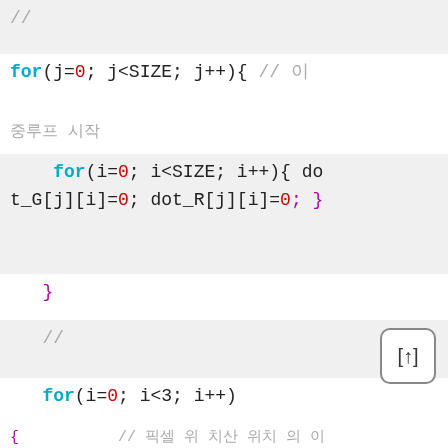// (comment)
for(j=0; j<SIZE; j++){ // 이중루프 시작
배열 초기화
for(i=0; i<SIZE; i++){ dot_G[j][i]=0; dot_R[j][i]=0; }
}
//
for(i=0; i<3; i++)
{ // 픽셀 위치 계산 시작
픽셀 위치(크기 3)